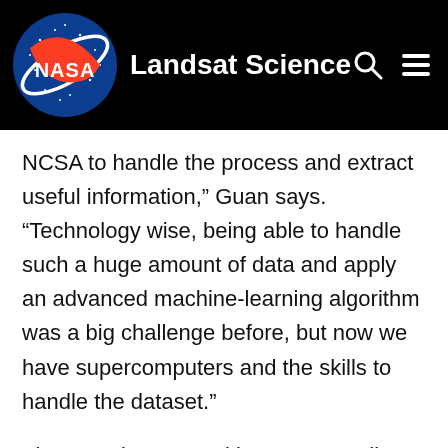NASA Landsat Science
NCSA to handle the process and extract useful information,” Guan says. “Technology wise, being able to handle such a huge amount of data and apply an advanced machine-learning algorithm was a big challenge before, but now we have supercomputers and the skills to handle the dataset.”
The team is now working on expanding the study area to the entire Corn Belt, and investigating further applications of the data, including yield and other quality estimations.